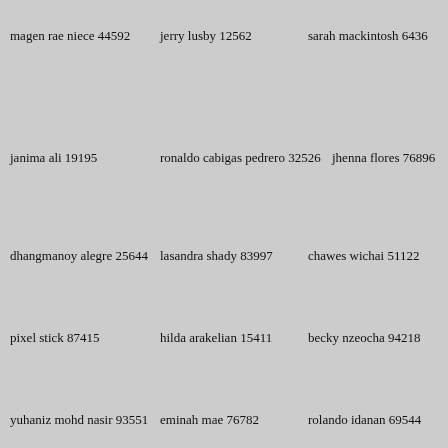magen rae niece 44592
jerry lusby 12562
sarah mackintosh 6436
janima ali 19195
ronaldo cabigas pedrero 32526
jhenna flores 76896
dhangmanoy alegre 25644
lasandra shady 83997
chawes wichai 51122
pixel stick 87415
hilda arakelian 15411
becky nzeocha 94218
yuhaniz mohd nasir 93551
eminah mae 76782
rolando idanan 69544